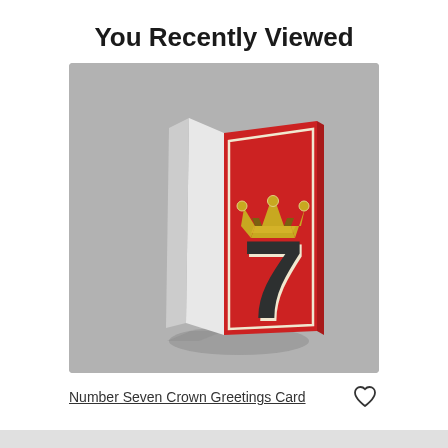You Recently Viewed
[Figure (photo): A greeting card standing upright showing a red card front with a gold crown above a large dark number 7, with slight perspective showing the white interior pages of the folded card. The card casts a soft shadow on a grey background.]
Number Seven Crown Greetings Card